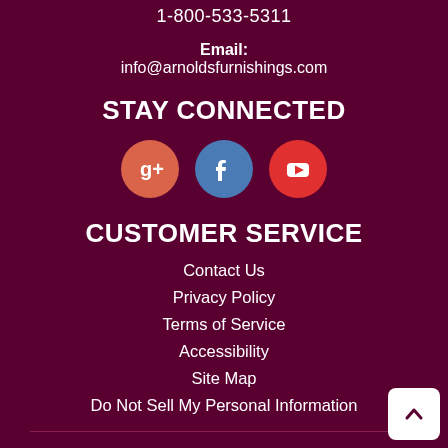1-800-533-5311
Email: info@arnoldsfurnishings.com
STAY CONNECTED
[Figure (illustration): Three social media icon circles: Google+ (salmon/orange), Facebook (blue), YouTube (red)]
CUSTOMER SERVICE
Contact Us
Privacy Policy
Terms of Service
Accessibility
Site Map
Do Not Sell My Personal Information
Welcome to our website! As we have the ability to list over one million items on our website (our selection changes all of the time), it is not feasible for a company our size to record and playback the descriptions on every item on our website. However, if you have a disability we are here to help.